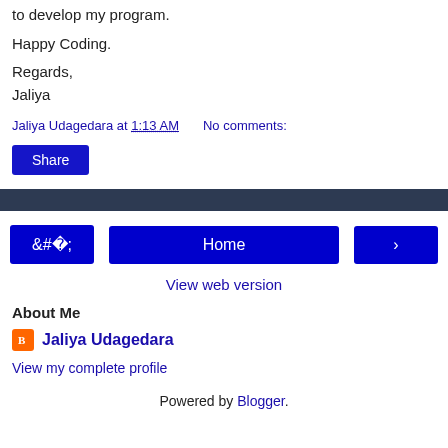to develop my program.
Happy Coding.
Regards,
Jaliya
Jaliya Udagedara at 1:13 AM    No comments:
Share
‹   Home   ›
View web version
About Me
Jaliya Udagedara
View my complete profile
Powered by Blogger.